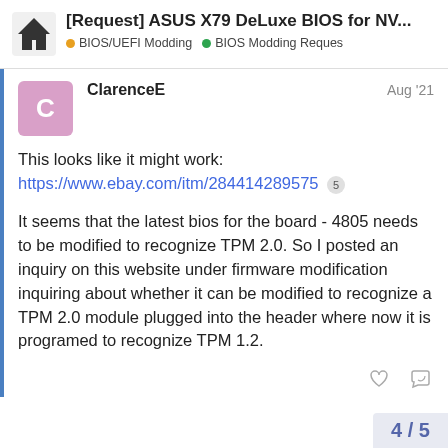[Request] ASUS X79 DeLuxe BIOS for NV... | BIOS/UEFI Modding | BIOS Modding Reques
ClarenceE — Aug '21
This looks like it might work:
https://www.ebay.com/itm/284414289575 5
It seems that the latest bios for the board - 4805 needs to be modified to recognize TPM 2.0. So I posted an inquiry on this website under firmware modification inquiring about whether it can be modified to recognize a TPM 2.0 module plugged into the header where now it is programed to recognize TPM 1.2.
4 / 5